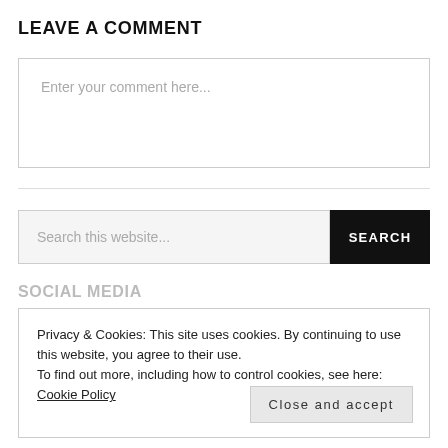LEAVE A COMMENT
Enter your comment here...
Search this website...
SEARCH
SOCIAL MEDIA
Privacy & Cookies: This site uses cookies. By continuing to use this website, you agree to their use.
To find out more, including how to control cookies, see here:
Cookie Policy
Close and accept